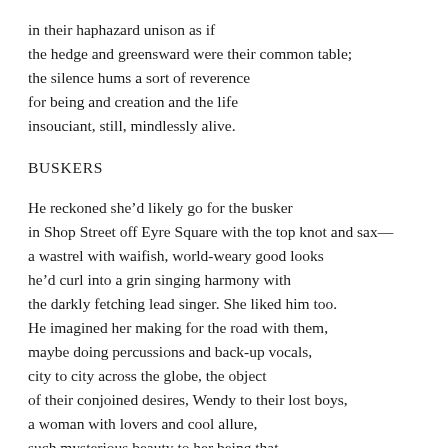in their haphazard unison as if
the hedge and greensward were their common table;
the silence hums a sort of reverence
for being and creation and the life
insouciant, still, mindlessly alive.
BUSKERS
He reckoned she'd likely go for the busker
in Shop Street off Eyre Square with the top knot and sax—
a wastrel with waifish, world-weary good looks
he'd curl into a grin singing harmony with
the darkly fetching lead singer. She liked him too.
He imagined her making for the road with them,
maybe doing percussions and back-up vocals,
city to city across the globe, the object
of their conjoined desires, Wendy to their lost boys,
a woman with lovers and cool allure,
such mysterious beauty to her being that